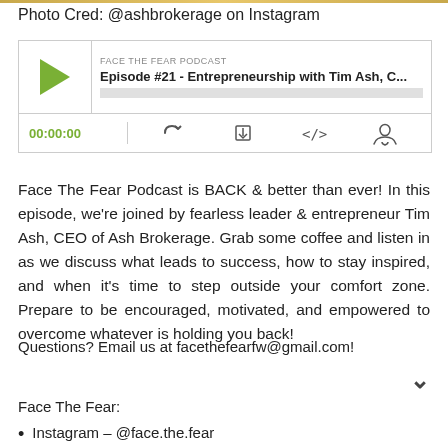Photo Cred: @ashbrokerage on Instagram
[Figure (screenshot): Podcast player widget for Face The Fear Podcast Episode #21 - Entrepreneurship with Tim Ash, C... showing a play button, episode title, progress bar, timestamp 00:00:00 and control icons for RSS, download, embed, and user.]
Face The Fear Podcast is BACK & better than ever! In this episode, we're joined by fearless leader & entrepreneur Tim Ash, CEO of Ash Brokerage. Grab some coffee and listen in as we discuss what leads to success, how to stay inspired, and when it's time to step outside your comfort zone. Prepare to be encouraged, motivated, and empowered to overcome whatever is holding you back!
Questions? Email us at facethefearfw@gmail.com!
Face The Fear:
Instagram – @face.the.fear
Facebook – https://facebook.com/FaceTheFearFW